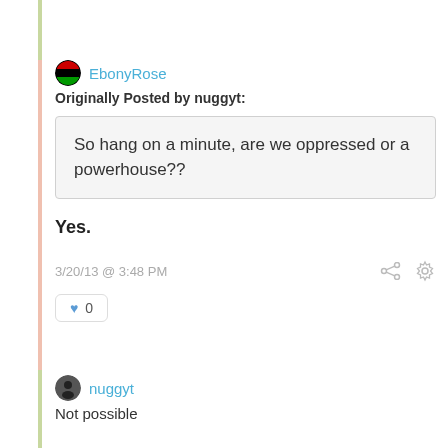EbonyRose
Originally Posted by nuggyt:
So hang on a minute, are we oppressed or a powerhouse??
Yes.
3/20/13 @ 3:48 PM
0
nuggyt
Not possible